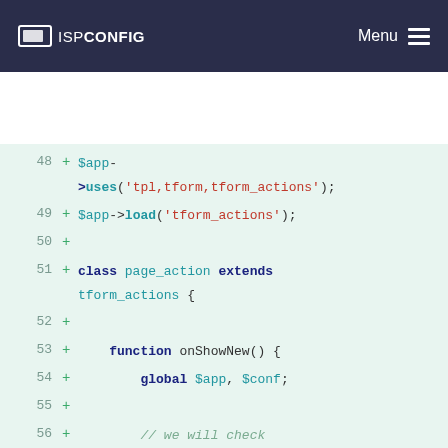ISPConfig | Menu
[Figure (screenshot): Code diff view showing PHP code lines 48-60 with line numbers and green plus markers on a light green background. Code includes $app->uses, $app->load, class page_action extends tform_actions, function onShowNew, global $app $conf, conditional check on $_SESSION, and $client_group_id assignment.]